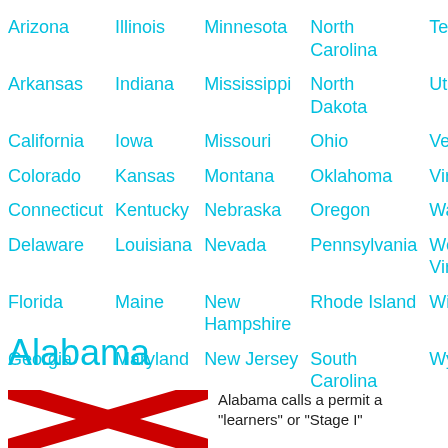Arizona
Illinois
Minnesota
North Carolina
Texas
Arkansas
Indiana
Mississippi
North Dakota
Utah
California
Iowa
Missouri
Ohio
Vermont
Colorado
Kansas
Montana
Oklahoma
Virginia
Connecticut
Kentucky
Nebraska
Oregon
Washington
Delaware
Louisiana
Nevada
Pennsylvania
West Virginia
Florida
Maine
New Hampshire
Rhode Island
Wisconsin
Georgia
Maryland
New Jersey
South Carolina
Wyoming
Alabama
[Figure (photo): Alabama state flag — white background with red St. Andrew's cross (X pattern)]
Alabama calls a permit a "learners" or "Stage I"